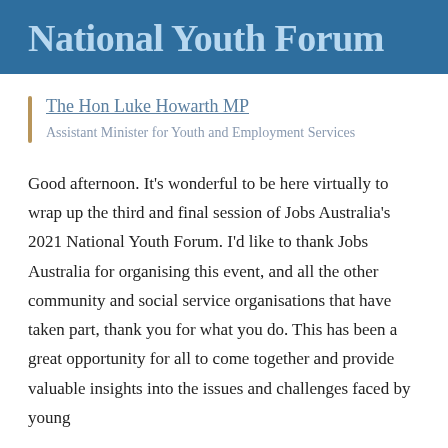National Youth Forum
The Hon Luke Howarth MP
Assistant Minister for Youth and Employment Services
Good afternoon. It's wonderful to be here virtually to wrap up the third and final session of Jobs Australia's 2021 National Youth Forum. I'd like to thank Jobs Australia for organising this event, and all the other community and social service organisations that have taken part, thank you for what you do. This has been a great opportunity for all to come together and provide valuable insights into the issues and challenges faced by young